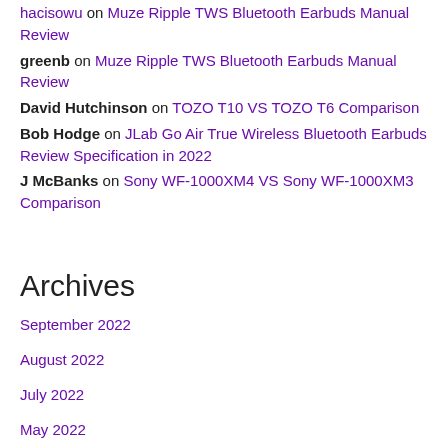hacisowu on Muze Ripple TWS Bluetooth Earbuds Manual Review
greenb on Muze Ripple TWS Bluetooth Earbuds Manual Review
David Hutchinson on TOZO T10 VS TOZO T6 Comparison
Bob Hodge on JLab Go Air True Wireless Bluetooth Earbuds Review Specification in 2022
J McBanks on Sony WF-1000XM4 VS Sony WF-1000XM3 Comparison
Archives
September 2022
August 2022
July 2022
May 2022